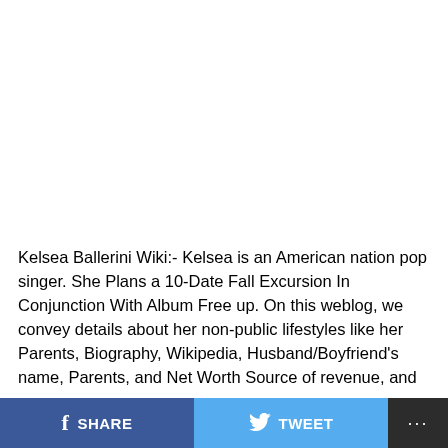[Figure (photo): Large white/blank image area taking up the top portion of the page]
Kelsea Ballerini Wiki:- Kelsea is an American nation pop singer. She Plans a 10-Date Fall Excursion In Conjunction With Album Free up. On this weblog, we convey details about her non-public lifestyles like her Parents, Biography, Wikipedia, Husband/Boyfriend's name, Parents, and Net Worth Source of revenue, and
SHARE  TWEET  ...